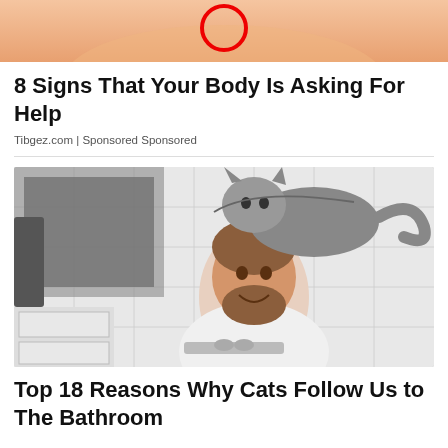[Figure (photo): Partial view of a human torso/skin with a red circle annotation]
8 Signs That Your Body Is Asking For Help
Tibgez.com | Sponsored Sponsored
[Figure (photo): A smiling bearded man at a bathroom sink with a cat sitting on his head/shoulders]
Top 18 Reasons Why Cats Follow Us to The Bathroom